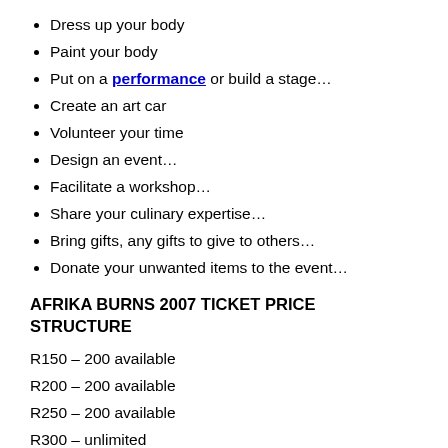Dress up your body
Paint your body
Put on a performance or build a stage…
Create an art car
Volunteer your time
Design an event…
Facilitate a workshop…
Share your culinary expertise…
Bring gifts, any gifts to give to others…
Donate your unwanted items to the event…
AFRIKA BURNS 2007 TICKET PRICE STRUCTURE
R150 – 200 available
R200 – 200 available
R250 – 200 available
R300 – unlimited
R350 at the gate – unlimited VENUE: TANKWA TOWN,